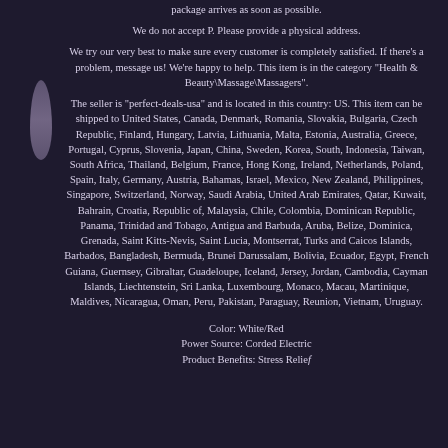package arrives as soon as possible.
We do not accept P. Please provide a physical address.
We try our very best to make sure every customer is completely satisfied. If there's a problem, message us! We're happy to help. This item is in the category "Health & Beauty\Massage\Massagers".
The seller is "perfect-deals-usa" and is located in this country: US. This item can be shipped to United States, Canada, Denmark, Romania, Slovakia, Bulgaria, Czech Republic, Finland, Hungary, Latvia, Lithuania, Malta, Estonia, Australia, Greece, Portugal, Cyprus, Slovenia, Japan, China, Sweden, Korea, South, Indonesia, Taiwan, South Africa, Thailand, Belgium, France, Hong Kong, Ireland, Netherlands, Poland, Spain, Italy, Germany, Austria, Bahamas, Israel, Mexico, New Zealand, Philippines, Singapore, Switzerland, Norway, Saudi Arabia, United Arab Emirates, Qatar, Kuwait, Bahrain, Croatia, Republic of, Malaysia, Chile, Colombia, Dominican Republic, Panama, Trinidad and Tobago, Antigua and Barbuda, Aruba, Belize, Dominica, Grenada, Saint Kitts-Nevis, Saint Lucia, Montserrat, Turks and Caicos Islands, Barbados, Bangladesh, Bermuda, Brunei Darussalam, Bolivia, Ecuador, Egypt, French Guiana, Guernsey, Gibraltar, Guadeloupe, Iceland, Jersey, Jordan, Cambodia, Cayman Islands, Liechtenstein, Sri Lanka, Luxembourg, Monaco, Macau, Martinique, Maldives, Nicaragua, Oman, Peru, Pakistan, Paraguay, Reunion, Vietnam, Uruguay.
Color: White/Red
Power Source: Corded Electric
Product Benefits: Stress Relief